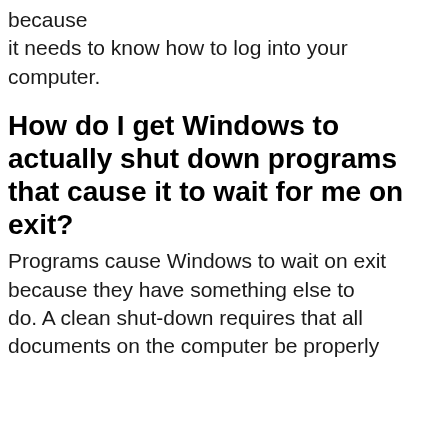because it needs to know how to log into your computer.
How do I get Windows to actually shut down programs that cause it to wait for me on exit?
Programs cause Windows to wait on exit because they have something else to do. A clean shut-down requires that all documents on the computer be properly